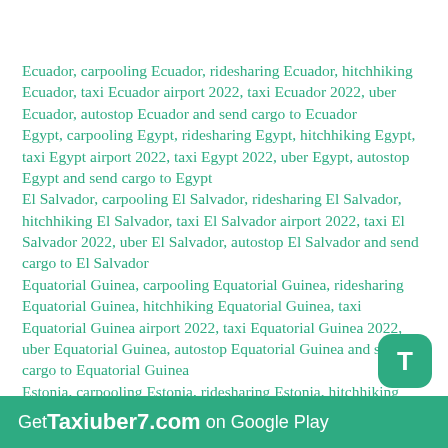Ecuador, carpooling Ecuador, ridesharing Ecuador, hitchhiking Ecuador, taxi Ecuador airport 2022, taxi Ecuador 2022, uber Ecuador, autostop Ecuador and send cargo to Ecuador
Egypt, carpooling Egypt, ridesharing Egypt, hitchhiking Egypt, taxi Egypt airport 2022, taxi Egypt 2022, uber Egypt, autostop Egypt and send cargo to Egypt
El Salvador, carpooling El Salvador, ridesharing El Salvador, hitchhiking El Salvador, taxi El Salvador airport 2022, taxi El Salvador 2022, uber El Salvador, autostop El Salvador and send cargo to El Salvador
Equatorial Guinea, carpooling Equatorial Guinea, ridesharing Equatorial Guinea, hitchhiking Equatorial Guinea, taxi Equatorial Guinea airport 2022, taxi Equatorial Guinea 2022, uber Equatorial Guinea, autostop Equatorial Guinea and send cargo to Equatorial Guinea
Estonia, carpooling Estonia, ridesharing Estonia, hitchhiking Estonia, taxi Estonia airport 2022, taxi Estonia 2022, uber Estonia, autostop Estonia and send
[Figure (other): Green rounded square button with letter T]
Get Taxiuber7.com on Google Play